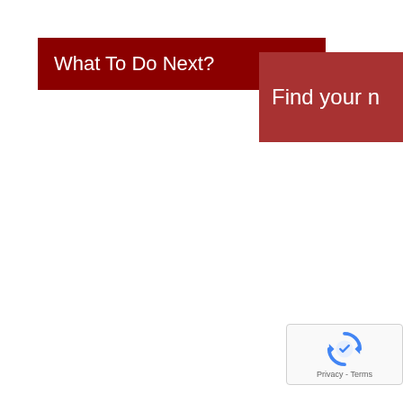What To Do Next?
Find your n
[Figure (logo): reCAPTCHA badge with rotating arrows logo icon and Privacy - Terms text]